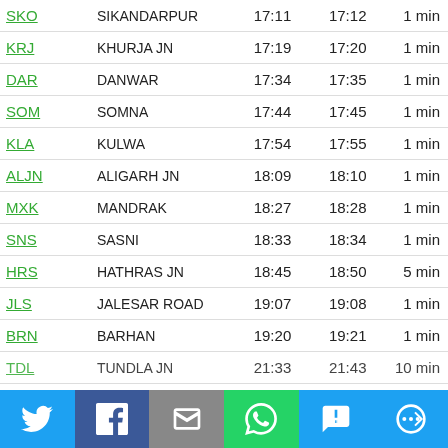| Code | Station | Arrival | Departure | Halt |
| --- | --- | --- | --- | --- |
| SKO | SIKANDARPUR | 17:11 | 17:12 | 1 min |
| KRJ | KHURJA JN | 17:19 | 17:20 | 1 min |
| DAR | DANWAR | 17:34 | 17:35 | 1 min |
| SOM | SOMNA | 17:44 | 17:45 | 1 min |
| KLA | KULWA | 17:54 | 17:55 | 1 min |
| ALJN | ALIGARH JN | 18:09 | 18:10 | 1 min |
| MXK | MANDRAK | 18:27 | 18:28 | 1 min |
| SNS | SASNI | 18:33 | 18:34 | 1 min |
| HRS | HATHRAS JN | 18:45 | 18:50 | 5 min |
| JLS | JALESAR ROAD | 19:07 | 19:08 | 1 min |
| BRN | BARHAN | 19:20 | 19:21 | 1 min |
| TDL | TUNDLA JN | 21:33 | 21:43 | 10 min |